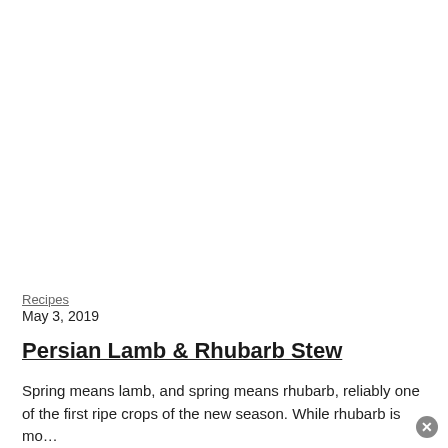Recipes
May 3, 2019
Persian Lamb & Rhubarb Stew
Spring means lamb, and spring means rhubarb, reliably one of the first ripe crops of the new season. While rhubarb is mo…